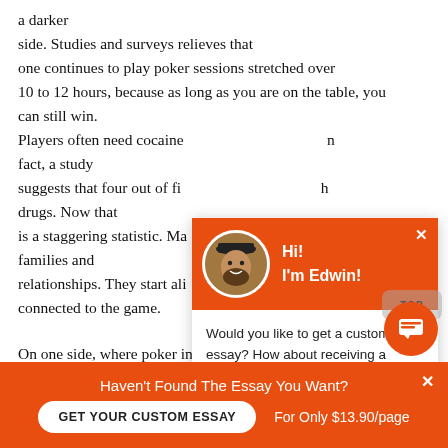a darker side. Studies and surveys relieves that one continues to play poker sessions stretched over 10 to 12 hours, because as long as you are on the table, you can still win. Players often need cocaine and in fact, a study suggests that four out of five use drugs. Now that is a staggering statistic. Many ruin families and relationships. They start alienated connected to the game.
[Figure (screenshot): Chat popup widget with orange header showing avatar photo of a bearded man, greeting 'Hi! I'm Edwin!', and message 'Would you like to get a custom essay? How about receiving a customized one?' with a 'Check it out' link.]
On one side, where poker in India is gaining success, it h
[Figure (screenshot): Orange bottom banner with text 'Haven't Found The Essay You Want?' and a white rounded button 'GET YOUR CUSTOM ESSAY' and text 'For Only $13.90/page' with a close X button.]